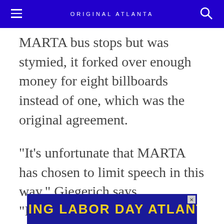ORIGINAL ATLANTA
MARTA bus stops but was stymied, it forked over enough money for eight billboards instead of one, which was the original agreement.
"It's unfortunate that MARTA has chosen to limit speech in this way," Giegerich says. "Ironically, we'll reach more people because they wouldn't run our ads."??
[Figure (other): Advertisement banner reading MAKING LABOR DAY ATLANTA'S in yellow bold text on dark blue background]